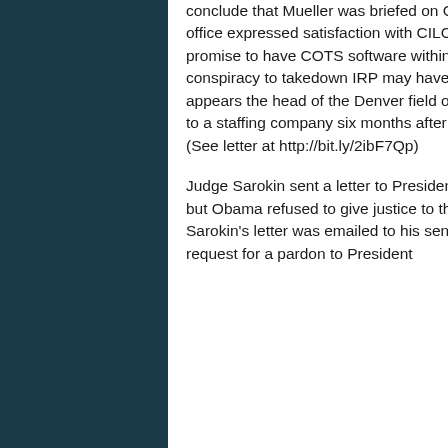conclude that Mueller was briefed on CILC by his chief information officer after former officials from his office expressed satisfaction with CILC's capabilities. The timing of McRae's statement, Mueller's promise to have COTS software within a year and the offer to buy IRP certainly indicates the conspiracy to takedown IRP may have been planned at a higher level even if Mueller was unaware. It appears the head of the Denver field office was in the dark about the IRP case when he sent a letter to a staffing company six months after the raid, stating the matter would "best be handled civilly." (See letter at http://bit.ly/2ibF7Qp)
Judge Sarokin sent a letter to President Obama asking him to grant clemency for the IRP executives, but Obama refused to give justice to these men. Obama can't claim he didn't know because Sarokin's letter was emailed to his senior aide Roy Austin. In the past weeks, A Just Cause sent a request for a pardon to President